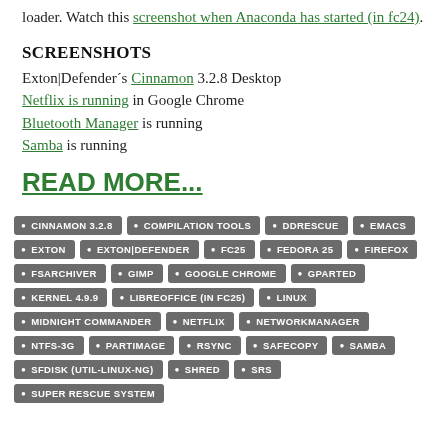loader. Watch this screenshot when Anaconda has started (in fc24).
SCREENSHOTS
Exton|Defender´s Cinnamon 3.2.8 Desktop
Netflix is running in Google Chrome
Bluetooth Manager is running
Samba is running
READ MORE...
CINNAMON 3.2.8
COMPILATION TOOLS
DDRESCUE
EMACS
EXTON
EXTON|DEFENDER
FC25
FEDORA 25
FIREFOX
FSARCHIVER
GIMP
GOOGLE CHROME
GPARTED
KERNEL 4.9.9
LIBREOFFICE (IN FC25)
LINUX
MIDNIGHT COMMANDER
NETFLIX
NETWORKMANAGER
NTFS-3G
PARTIMAGE
RSYNC
SAFECOPY
SAMBA
SFDISK (UTIL-LINUX-NG)
SHRED
SRS
SUPER RESCUE SYSTEM